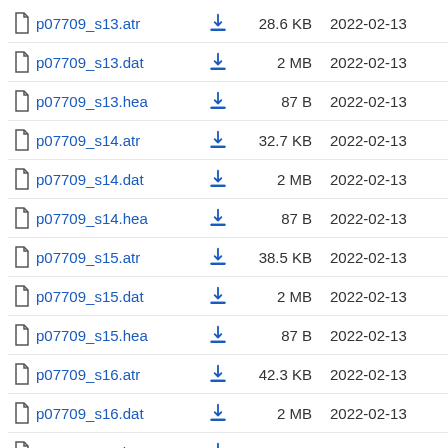p07709_s13.atr  28.6 KB  2022-02-13
p07709_s13.dat  2 MB  2022-02-13
p07709_s13.hea  87 B  2022-02-13
p07709_s14.atr  32.7 KB  2022-02-13
p07709_s14.dat  2 MB  2022-02-13
p07709_s14.hea  87 B  2022-02-13
p07709_s15.atr  38.5 KB  2022-02-13
p07709_s15.dat  2 MB  2022-02-13
p07709_s15.hea  87 B  2022-02-13
p07709_s16.atr  42.3 KB  2022-02-13
p07709_s16.dat  2 MB  2022-02-13
p07709_s16.hea  86 B  2022-02-13
p07709_s17.atr  42.9 KB  2022-02-13
p07709_s17.dat  2 MB  2022-02-13